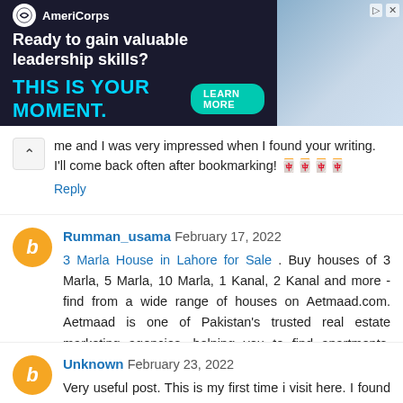[Figure (infographic): AmeriCorps advertisement banner. Dark navy background with white and cyan text. Logo circle on left, headline 'Ready to gain valuable leadership skills?', subheadline 'THIS IS YOUR MOMENT.' in cyan, 'LEARN MORE' teal button, photo of people on right side.]
me and I was very impressed when I found your writing. I'll come back often after bookmarking! 🀄🀄🀄🀄
Reply
Rumman_usama February 17, 2022
3 Marla House in Lahore for Sale . Buy houses of 3 Marla, 5 Marla, 10 Marla, 1 Kanal, 2 Kanal and more - find from a wide range of houses on Aetmaad.com. Aetmaad is one of Pakistan's trusted real estate marketing agencies, helping you to find apartments, villas, and houses for sale.
Reply
Unknown February 23, 2022
Very useful post. This is my first time i visit here. I found so many interesting stuff in your blog especially its discussion.